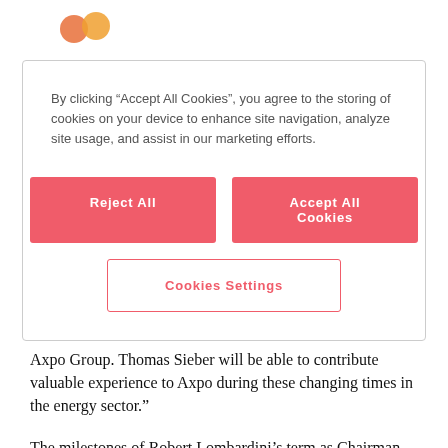By clicking “Accept All Cookies”, you agree to the storing of cookies on your device to enhance site navigation, analyze site usage, and assist in our marketing efforts.
Reject All
Accept All Cookies
Cookies Settings
Axpo Group. Thomas Sieber will be able to contribute valuable experience to Axpo during these changing times in the energy sector.”
The milestones of Robert Lombardini’s term as Chairman were the merger of NOK, EGL and CKW under Axpo, the development of the European trading business, the expansion of the Linth-Limmern